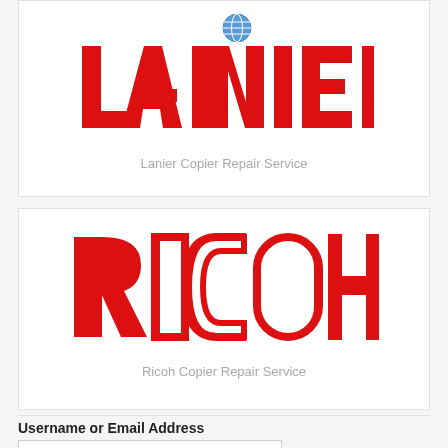[Figure (logo): Lanier brand logo in red with a globe icon above the letter N]
Lanier Copier Repair Service
[Figure (logo): Ricoh brand logo in red with outlined block letters]
Ricoh Copier Repair Service
Username or Email Address
ord
[Figure (other): Red circular phone call button with white phone handset icon]
[Figure (other): Google reCAPTCHA widget showing a circular arrow logo with Privacy and Terms text]